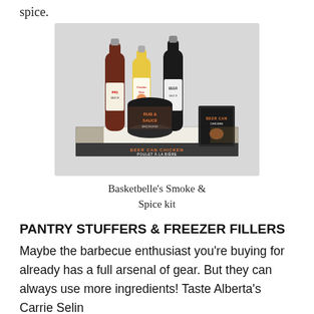spice.
[Figure (photo): Basketbelle's Smoke & Spice kit — a gift box containing two dark beer-style bottles, a yellow squeeze bottle (Cheddar Daze), a can of BBQ rub, and a Beer Can Chicken recipe/spice book on a white tray.]
Basketbelle's Smoke & Spice kit
PANTRY STUFFERS & FREEZER FILLERS
Maybe the barbecue enthusiast you're buying for already has a full arsenal of gear. But they can always use more ingredients! Taste Alberta's Carrie Selin